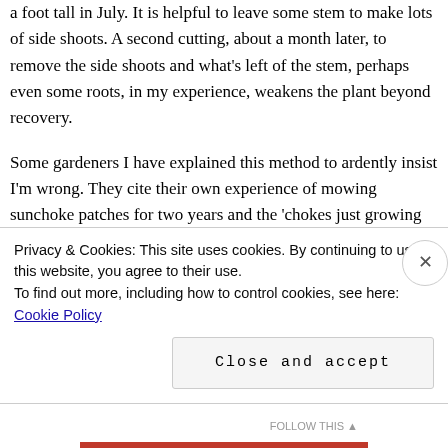in my climate, this means cutting the plants off about a foot tall in July. It is helpful to leave some stem to make lots of side shoots. A second cutting, about a month later, to remove the side shoots and what's left of the stem, perhaps even some roots, in my experience, weakens the plant beyond recovery.
Some gardeners I have explained this method to ardently insist I'm wrong. They cite their own experience of mowing sunchoke patches for two years and the 'chokes just growing up over and over again.
I have gotten excellent results with the method in my
Privacy & Cookies: This site uses cookies. By continuing to use this website, you agree to their use.
To find out more, including how to control cookies, see here: Cookie Policy
Close and accept